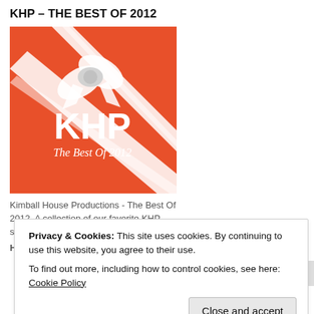KHP – THE BEST OF 2012
[Figure (illustration): Album cover for KHP – The Best Of 2012. Orange/red background with a white ribbon bow decoration. Large white text 'KHP' and italic script text 'The Best Of 2012' below.]
Kimball House Productions - The Best Of 2012. A collection of our favorite KHP songs released in 2012
Privacy & Cookies: This site uses cookies. By continuing to use this website, you agree to their use.
To find out more, including how to control cookies, see here: Cookie Policy
Close and accept